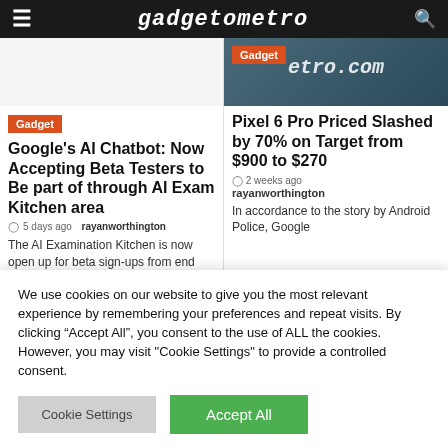gadgetometro
[Figure (screenshot): Gadget category badge for left card]
Google’s AI Chatbot: Now Accepting Beta Testers to Be part of through AI Exam Kitchen area
5 days ago  rayanworthington
The AI Examination Kitchen is now open up for beta sign-ups from end users and
[Figure (photo): Right card image showing gadgetometro.com watermark on dark background]
Pixel 6 Pro Priced Slashed by 70% on Target from $900 to $270
2 weeks ago
rayanworthington
In accordance to the story by Android Police, Google
We use cookies on our website to give you the most relevant experience by remembering your preferences and repeat visits. By clicking “Accept All”, you consent to the use of ALL the cookies. However, you may visit "Cookie Settings" to provide a controlled consent.